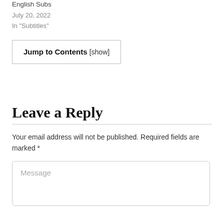English Subs
July 20, 2022
In "Subtitles"
Jump to Contents [show]
Leave a Reply
Your email address will not be published. Required fields are marked *
Message